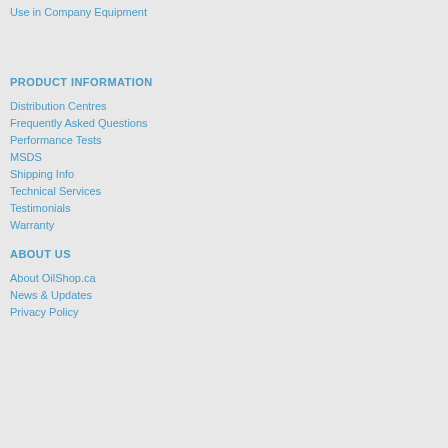Use in Company Equipment
PRODUCT INFORMATION
Distribution Centres
Frequently Asked Questions
Performance Tests
MSDS
Shipping Info
Technical Services
Testimonials
Warranty
ABOUT US
About OilShop.ca
News & Updates
Privacy Policy